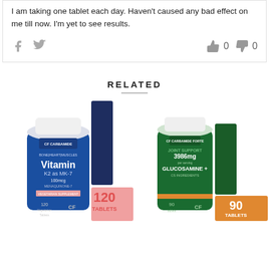I am taking one tablet each day. Haven't caused any bad effect on me till now. I'm yet to see results.
[Figure (screenshot): Review card with social share icons (Facebook, Twitter) and thumbs up/down vote counts (0, 0)]
RELATED
[Figure (photo): Product image: Carbamide Forte Vitamin K2 as MK-7 100mcg Menaquinone-7, 120 Vegetarian Tablets, with 'K2 MK-7 FROM DENMARK' banner and '120 TABLETS' label]
[Figure (photo): Product image: Carbamide Forte Joint Support 3986mg Glucosamine+ 90 tablets, with 'FOR JOINT PAIN' green banner and '90 TABLETS' label]